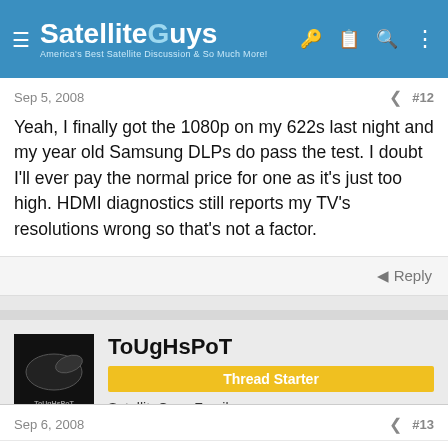SatelliteGuys — America's Best Satellite Discussion & So Much More!
Sep 5, 2008  #12
Yeah, I finally got the 1080p on my 622s last night and my year old Samsung DLPs do pass the test. I doubt I'll ever pay the normal price for one as it's just too high. HDMI diagnostics still reports my TV's resolutions wrong so that's not a factor.
Reply
ToUgHsPoT
Thread Starter
SatelliteGuys Family
Sep 6, 2008  #13
Smith said: